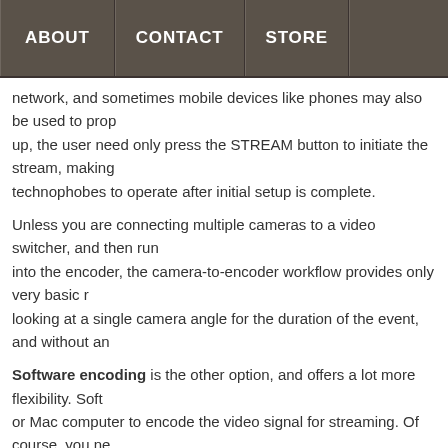ABOUT   CONTACT   STORE
network, and sometimes mobile devices like phones may also be used to prop up, the user need only press the STREAM button to initiate the stream, making technophobes to operate after initial setup is complete.
Unless you are connecting multiple cameras to a video switcher, and then run into the encoder, the camera-to-encoder workflow provides only very basic r looking at a single camera angle for the duration of the event, and without an
Software encoding is the other option, and offers a lot more flexibility. Soft or Mac computer to encode the video signal for streaming. Of course, you ne from the camera into the computer first, since the HDMI port you may have for output to a display, and does not accept any video input.
Various video capture options are available for Mac and PC from BlackMagi and Yuan. Some devices are external, which is ideal for laptop use. The captu SDI input port, and can interface to the computer using USB 3.0 or Thunderb Specialized streaming software in the computer can then use your camera ou the capture device. The computer is connected to the internet via local netwoo